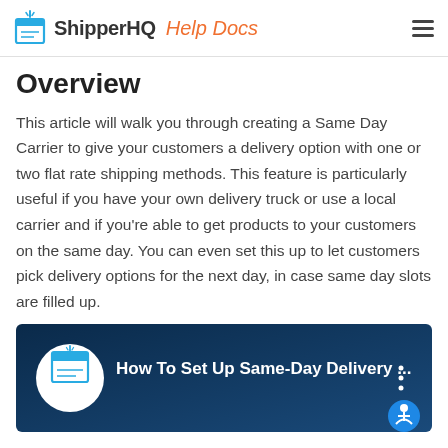ShipperHQ Help Docs
Overview
This article will walk you through creating a Same Day Carrier to give your customers a delivery option with one or two flat rate shipping methods. This feature is particularly useful if you have your own delivery truck or use a local carrier and if you're able to get products to your customers on the same day. You can even set this up to let customers pick delivery options for the next day, in case same day slots are filled up.
[Figure (screenshot): Video thumbnail: How To Set Up Same-Day Delivery ... with ShipperHQ logo on dark blue background]